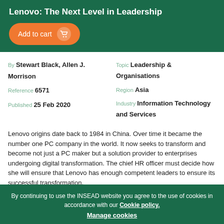Lenovo: The Next Level in Leadership
[Figure (other): Add to cart button with shopping cart icon, orange rounded button on dark green background]
By Stewart Black, Allen J. Morrison
Reference 6571
Published 25 Feb 2020
Topic Leadership & Organisations
Region Asia
Industry Information Technology and Services
Lenovo origins date back to 1984 in China. Over time it became the number one PC company in the world. It now seeks to transform and become not just a PC maker but a solution provider to enterprises undergoing digital transformation. The chief HR officer must decide how she will ensure that Lenovo has enough competent leaders to ensure its successful transformation.
By continuing to use the INSEAD website you agree to the use of cookies in accordance with our Cookie policy.
Manage cookies